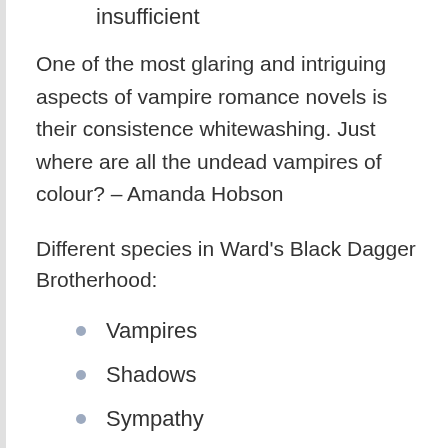insufficient
One of the most glaring and intriguing aspects of vampire romance novels is their consistence whitewashing. Just where are all the undead vampires of colour? – Amanda Hobson
Different species in Ward's Black Dagger Brotherhood:
Vampires
Shadows
Sympathy
Doggens
Humans